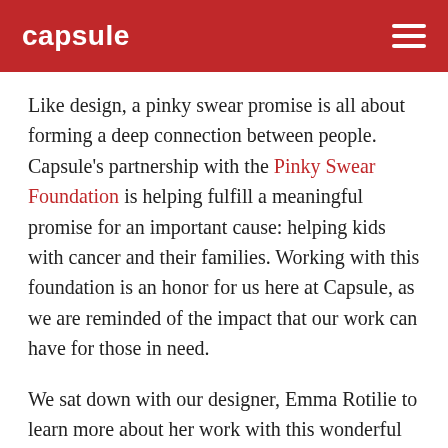capsule
Like design, a pinky swear promise is all about forming a deep connection between people. Capsule's partnership with the Pinky Swear Foundation is helping fulfill a meaningful promise for an important cause: helping kids with cancer and their families. Working with this foundation is an honor for us here at Capsule, as we are reminded of the impact that our work can have for those in need.
We sat down with our designer, Emma Rotilie to learn more about her work with this wonderful organization.